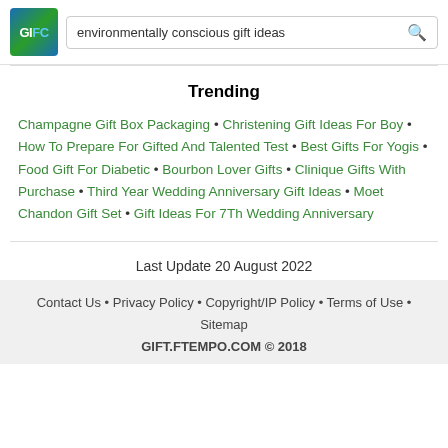GIFC logo | environmentally conscious gift ideas [search]
Trending
Champagne Gift Box Packaging • Christening Gift Ideas For Boy • How To Prepare For Gifted And Talented Test • Best Gifts For Yogis • Food Gift For Diabetic • Bourbon Lover Gifts • Clinique Gifts With Purchase • Third Year Wedding Anniversary Gift Ideas • Moet Chandon Gift Set • Gift Ideas For 7Th Wedding Anniversary
Last Update 20 August 2022
Contact Us • Privacy Policy • Copyright/IP Policy • Terms of Use • Sitemap
GIFT.FTEMPO.COM © 2018